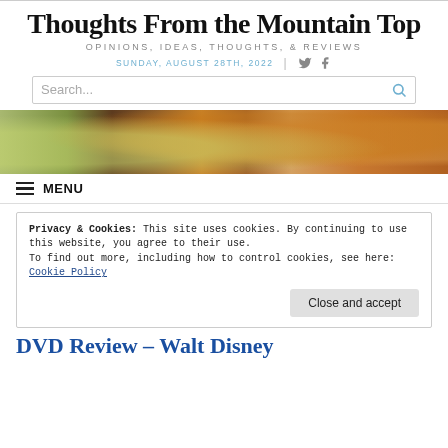Thoughts From the Mountain Top
OPINIONS, IDEAS, THOUGHTS, & REVIEWS
SUNDAY, AUGUST 28TH, 2022
[Figure (screenshot): Search bar with placeholder text 'Search...' and a magnifying glass icon on the right]
[Figure (photo): Banner photo showing tea, bowls, and food ingredients on a wooden surface]
MENU
Privacy & Cookies: This site uses cookies. By continuing to use this website, you agree to their use.
To find out more, including how to control cookies, see here: Cookie Policy
DVD Review – Walt Disney